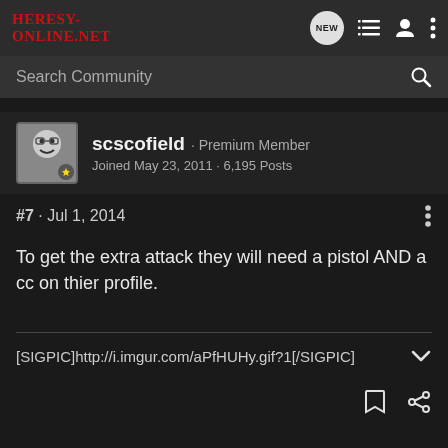HERESY-ONLINE.NET
Search Community
scscofield · Premium Member
Joined May 23, 2011 · 6,195 Posts
#7 · Jul 1, 2014
To get the extra attack they will need a pistol AND a cc on thier profile.
[SIGPIC]http://i.imgur.com/aPfHUHy.gif?1[/SIGPIC]